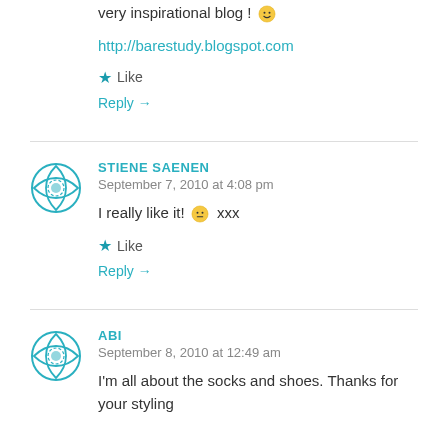very inspirational blog! 🙂
http://barestudy.blogspot.com
★ Like
Reply →
STIENE SAENEN
September 7, 2010 at 4:08 pm
I really like it! 😐 xxx
★ Like
Reply →
ABI
September 8, 2010 at 12:49 am
I'm all about the socks and shoes. Thanks for your styling